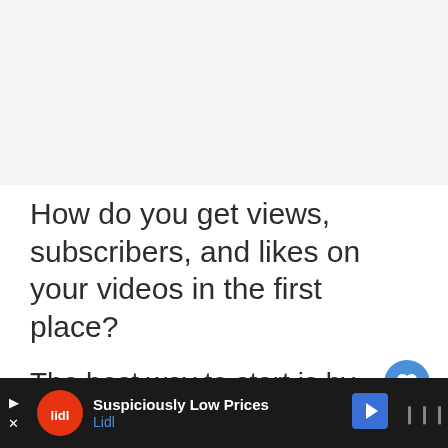[Figure (other): Gray placeholder area for an image or video thumbnail at the top of the page]
How do you get views, subscribers, and likes on your videos in the first place?
The best way to start is by optimizing your videos for search results
[Figure (other): Blue circular like/heart button on the right side]
[Figure (other): White circular share button on the right side]
[Figure (other): Lidl advertisement banner at the bottom: Suspiciously Low Prices, Lidl]